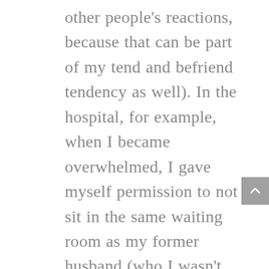other people's reactions, because that can be part of my tend and befriend tendency as well). In the hospital, for example, when I became overwhelmed, I gave myself permission to not sit in the same waiting room as my former husband (who I wasn't expecting to be there) and not explain myself either, because I knew that if I did so, my body would be on high alert and I would have to work extra hard to fight the compulsion to tend and